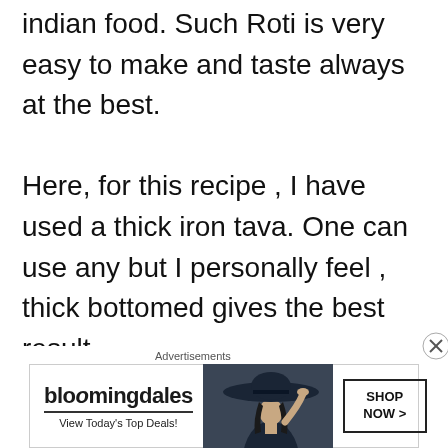indian food. Such Roti is very easy to make and taste always at the best.

Here, for this recipe , I have used a thick iron tava. One can use any but I personally feel , thick bottomed gives the best result.
[Figure (other): Bloomingdale's advertisement banner with logo, 'View Today's Top Deals!' text, image of woman with hat, and 'SHOP NOW >' button]